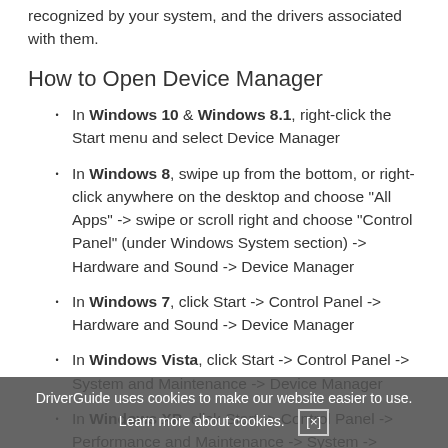recognized by your system, and the drivers associated with them.
How to Open Device Manager
In Windows 10 & Windows 8.1, right-click the Start menu and select Device Manager
In Windows 8, swipe up from the bottom, or right-click anywhere on the desktop and choose "All Apps" -> swipe or scroll right and choose "Control Panel" (under Windows System section) -> Hardware and Sound -> Device Manager
In Windows 7, click Start -> Control Panel -> Hardware and Sound -> Device Manager
In Windows Vista, click Start -> Control Panel -> System and Maintenance -> Device Manager
In Windows XP, click Start -> Control Panel -> Performance and Maintenance -> System ->
DriverGuide uses cookies to make our website easier to use. Learn more about cookies. [×]